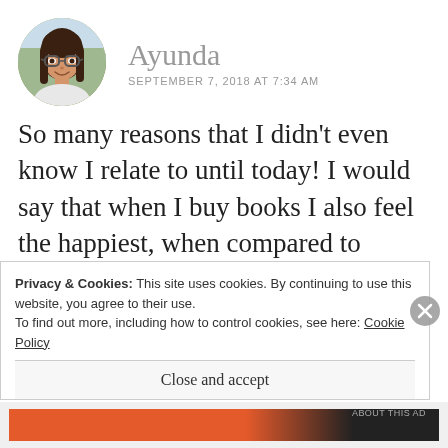[Figure (photo): Circular avatar photo of a young woman with glasses and long dark hair, smiling, outdoors with trees in background.]
Ayunda
SEPTEMBER 7, 2018 AT 7:34 AM
So many reasons that I didn't even know I relate to until today! I would say that when I buy books I also feel the happiest, when compared to buying other entertainment like makeup, clothes, etc. And the excitement for the book that you
Privacy & Cookies: This site uses cookies. By continuing to use this website, you agree to their use.
To find out more, including how to control cookies, see here: Cookie Policy
Close and accept